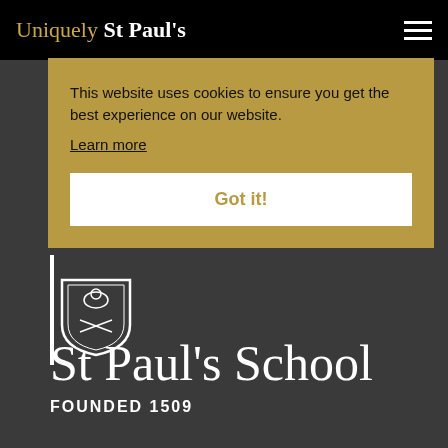Uniquely St Paul's
This website uses cookies to ensure you get the best experience on our website.
Learn more
Got it!
[Figure (logo): St Paul's School crest/shield logo in white on dark background]
St Paul's School
FOUNDED 1509